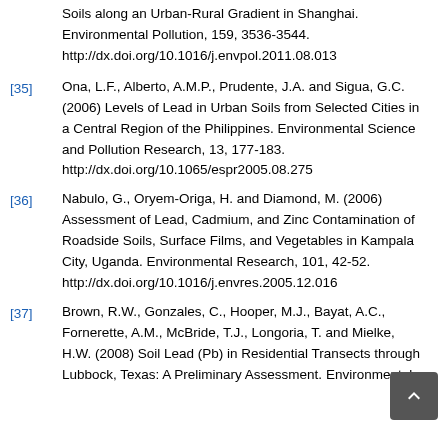Soils along an Urban-Rural Gradient in Shanghai. Environmental Pollution, 159, 3536-3544. http://dx.doi.org/10.1016/j.envpol.2011.08.013
[35] Ona, L.F., Alberto, A.M.P., Prudente, J.A. and Sigua, G.C. (2006) Levels of Lead in Urban Soils from Selected Cities in a Central Region of the Philippines. Environmental Science and Pollution Research, 13, 177-183. http://dx.doi.org/10.1065/espr2005.08.275
[36] Nabulo, G., Oryem-Origa, H. and Diamond, M. (2006) Assessment of Lead, Cadmium, and Zinc Contamination of Roadside Soils, Surface Films, and Vegetables in Kampala City, Uganda. Environmental Research, 101, 42-52. http://dx.doi.org/10.1016/j.envres.2005.12.016
[37] Brown, R.W., Gonzales, C., Hooper, M.J., Bayat, A.C., Fornerette, A.M., McBride, T.J., Longoria, T. and Mielke, H.W. (2008) Soil Lead (Pb) in Residential Transects through Lubbock, Texas: A Preliminary Assessment. Environmental